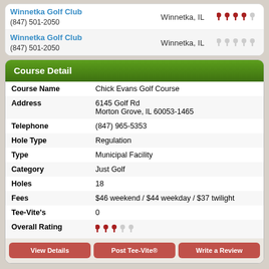| Name/Phone | City | Rating |
| --- | --- | --- |
| Winnetka Golf Club
(847) 501-2050 | Winnetka, IL | 4/5 tees |
| Winnetka Golf Club
(847) 501-2050 | Winnetka, IL | 0/5 tees |
Course Detail
| Field | Value |
| --- | --- |
| Course Name | Chick Evans Golf Course |
| Address | 6145 Golf Rd
Morton Grove, IL 60053-1465 |
| Telephone | (847) 965-5353 |
| Hole Type | Regulation |
| Type | Municipal Facility |
| Category | Just Golf |
| Holes | 18 |
| Fees | $46 weekend / $44 weekday / $37 twilight |
| Tee-Vite's | 0 |
| Overall Rating | 3/5 tees |
View Details
Post Tee-Vite®
Write a Review